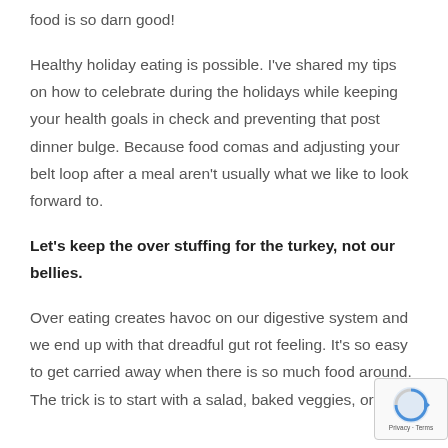food is so darn good!
Healthy holiday eating is possible. I've shared my tips on how to celebrate during the holidays while keeping your health goals in check and preventing that post dinner bulge. Because food comas and adjusting your belt loop after a meal aren't usually what we like to look forward to.
Let's keep the over stuffing for the turkey, not our bellies.
Over eating creates havoc on our digestive system and we end up with that dreadful gut rot feeling. It's so easy to get carried away when there is so much food around. The trick is to start with a salad, baked veggies, or soup